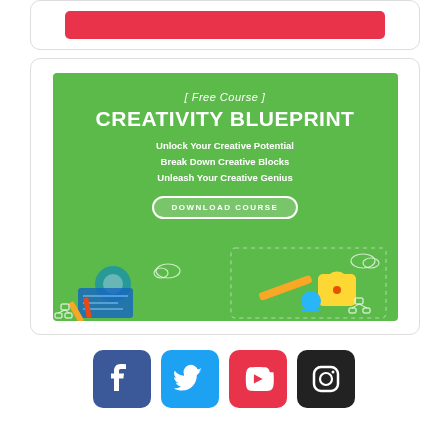[Figure (infographic): Red button/CTA bar inside a card at top of page]
[Figure (infographic): Green banner advertisement for 'Creativity Blueprint' free course with download button and decorative icons showing robot, blueprint, lock, network diagrams, pencil]
[Figure (infographic): Row of four social media icon buttons: Facebook (blue), Twitter (blue), YouTube (red), Instagram (black)]